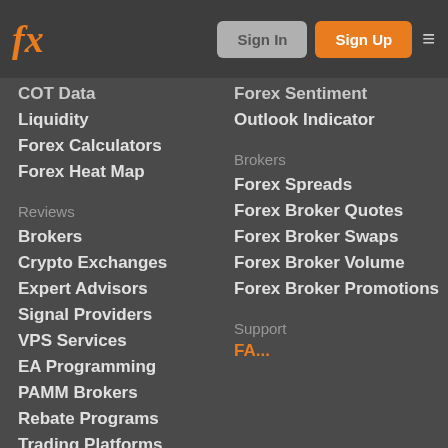fx Sign In Sign Up
COT Data
Liquidity
Forex Calculators
Forex Heat Map
Forex Sentiment
Outlook Indicator
Reviews
Brokers
Crypto Exchanges
Expert Advisors
Signal Providers
VPS Services
EA Programming
PAMM Brokers
Rebate Programs
Trading Platforms
Brokers
Forex Spreads
Forex Broker Quotes
Forex Broker Swaps
Forex Broker Volume
Forex Broker Promotions
Platform
Support